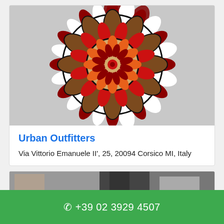[Figure (photo): Colorful mandala artwork with red, brown, orange and white petals on a light grey background]
Urban Outfitters
Via Vittorio Emanuele II', 25, 20094 Corsico MI, Italy
[Figure (photo): Partial view of a street/building exterior, cropped at bottom of page]
☎ +39 02 3929 4507